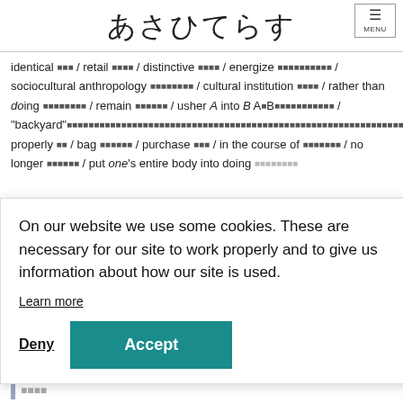あさひてらす
identical ■■■ / retail ■■■■ / distinctive ■■■■ / energize ■■■■■■■■■■ / sociocultural anthropology ■■■■■■■■ / cultural institution ■■■■ / rather than doing ■■■■■■■■ / remain ■■■■■■ / usher A into B A■B■■■■■■■■■■■ / "backyard"■■■■■■■■■■■■■■■■■■■■■■■■■■■■■■■■■■■■■■■■■■■■■■■■■■■■backyard■■■■■■■■/ properly ■■ / bag ■■■■■■ / purchase ■■■ / in the course of ■■■■■■■ / no longer ■■■■■■ / put one's entire body into doing ■■■■■■■■
On our website we use some cookies. These are necessary for our site to work properly and to give us information about how our site is used.
Learn more
Deny
Accept
■■■■